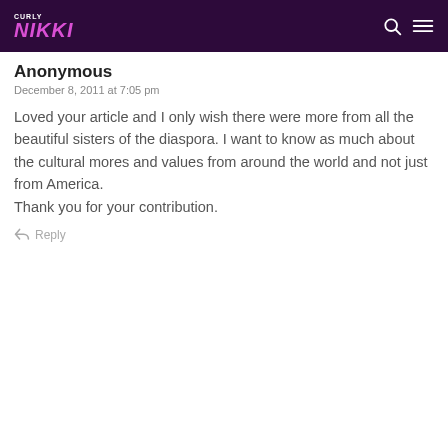CURLY NIKKI
Anonymous
December 8, 2011 at 7:05 pm
Loved your article and I only wish there were more from all the beautiful sisters of the diaspora. I want to know as much about the cultural mores and values from around the world and not just from America.
Thank you for your contribution.
Reply